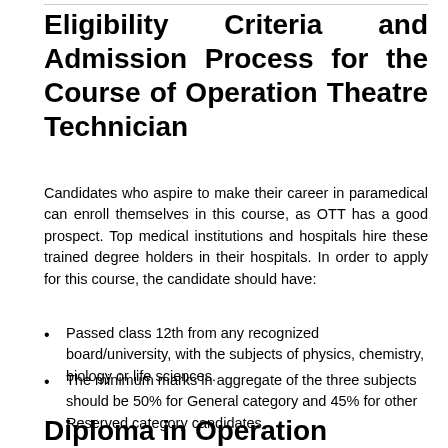Eligibility Criteria and Admission Process for the Course of Operation Theatre Technician
Candidates who aspire to make their career in paramedical can enroll themselves in this course, as OTT has a good prospect. Top medical institutions and hospitals hire these trained degree holders in their hospitals. In order to apply for this course, the candidate should have:
Passed class 12th from any recognized board/university, with the subjects of physics, chemistry, biology or life sciences.
The minimum marks in aggregate of the three subjects should be 50% for General category and 45% for other Reserved category candidates.
Diploma in Operation Technology